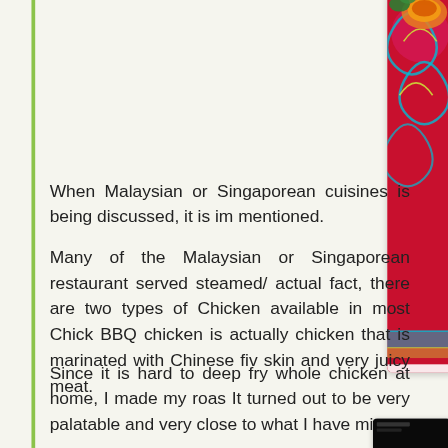[Figure (photo): Close-up photo of food (chicken) served on a colorful decorative red plate with blue and green swirl patterns, partially visible at top right of page]
When Malaysian or Singaporean cuisines is being discussed, it is im... mentioned.
Many of the Malaysian or Singaporean restaurant served steamed/... actual fact, there are two types of Chicken available in most Chick... BBQ chicken is actually chicken that is marinated with Chinese fiv... skin and very juicy meat.
Since it is hard to deep fry whole chicken at home, I made my roas... It turned out to be very palatable and very close to what I have mi...
[Figure (photo): Bottom portion of a second photo visible at bottom right, showing dark background, partially cut off]